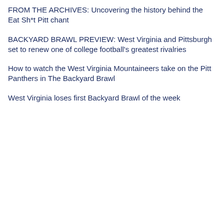FROM THE ARCHIVES: Uncovering the history behind the Eat Sh*t Pitt chant
BACKYARD BRAWL PREVIEW: West Virginia and Pittsburgh set to renew one of college football's greatest rivalries
How to watch the West Virginia Mountaineers take on the Pitt Panthers in The Backyard Brawl
West Virginia loses first Backyard Brawl of the week